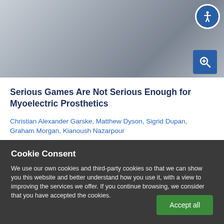[Figure (photo): Close-up photograph of a person wearing a myoelectric prosthetic arm, showing mechanical components and a grey sleeve]
Serious Games Are Not Serious Enough for Myoelectric Prosthetics
Christian Alexander Garske, Matthew Dyson, Sigrid Dupan, Graham Morgan, Kianoush Nazarpour
Cookie Consent
We use our own cookies and third-party cookies so that we can show you this website and better understand how you use it, with a view to improving the services we offer. If you continue browsing, we consider that you have accepted the cookies.